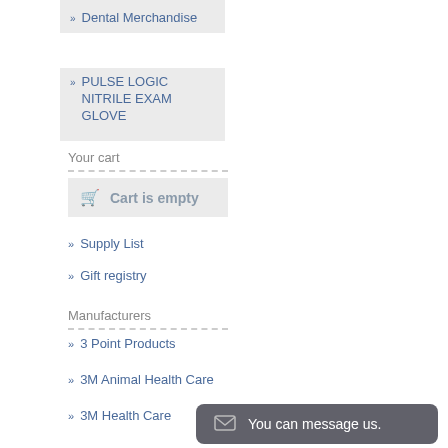Dental Merchandise
PULSE LOGIC NITRILE EXAM GLOVE
Your cart
Cart is empty
Supply List
Gift registry
Manufacturers
3 Point Products
3M Animal Health Care
3M Health Care
3M Oral Car...
4E Brands M...
You can message us.